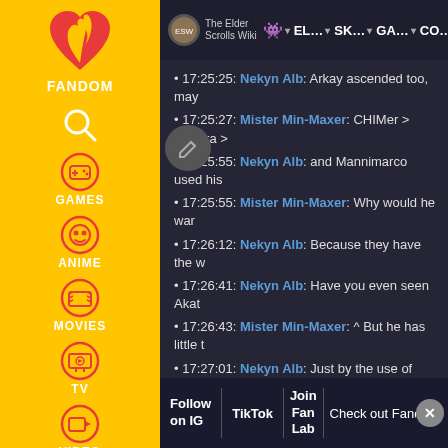[Figure (screenshot): Fandom wiki website screenshot showing The Elder Scrolls Wiki chat conversation and sidebar navigation]
17:25:25: Nekyn Alb: Arkay ascended too, may
17:25:27: Mister Min-Maxer: CHIMer > Daedra >
17:25:55: Nekyn Alb: and Mannimarco used his
17:25:55: Mister Min-Maxer: Why would he war
17:26:12: Nekyn Alb: Because they have the w
17:26:41: Nekyn Alb: Have you even seen Akat
17:26:43: Mister Min-Maxer: ^ But he has little t
17:27:01: Nekyn Alb: Just by the use of dragon... Dagon's ass
17:27:07: Nekyn Alb: Talos?
17:27:20: Mister Min-Maxer: Yeah.
17:27:21: Nekyn Alb: Talos keeps the Kalpa runn
17:27:34: Mister Min-Maxer: Whats the Kalpa a
Follow on IG | TikTok | Join Fan Lab | Check out Fandom Quizzes and cha X